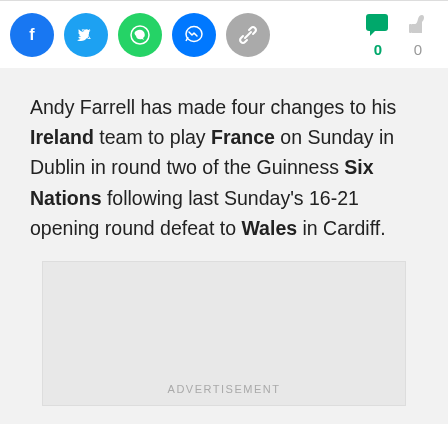[Figure (infographic): Social sharing icons: Facebook (blue), Twitter (light blue), WhatsApp (green), Messenger (blue), Link (gray). On the right: green comment icon with count 0, and a gray thumbs-up icon with count 0.]
Andy Farrell has made four changes to his Ireland team to play France on Sunday in Dublin in round two of the Guinness Six Nations following last Sunday's 16-21 opening round defeat to Wales in Cardiff.
[Figure (other): Advertisement placeholder box with label ADVERTISEMENT at the bottom center.]